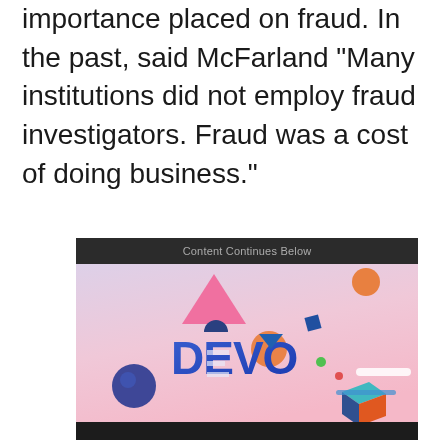importance placed on fraud. In the past, said McFarland "Many institutions did not employ fraud investigators. Fraud was a cost of doing business."
[Figure (logo): Advertisement banner with dark header labeled 'Content Continues Below' and a colorful image featuring the DEVO logo with geometric shapes (pink triangle, orange circles, blue sphere, teal and orange cube) on a pink-to-lavender gradient background.]